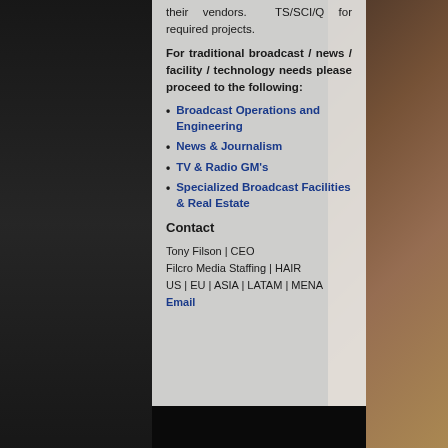their vendors.  TS/SCI/Q for required projects.
For traditional broadcast / news / facility / technology needs please proceed to the following:
Broadcast Operations and Engineering
News & Journalism
TV & Radio GM's
Specialized Broadcast Facilities & Real Estate
Contact
Tony Filson | CEO
Filcro Media Staffing | HAIR
US | EU | ASIA | LATAM | MENA
Email
[Figure (photo): Dark image at bottom of content area]